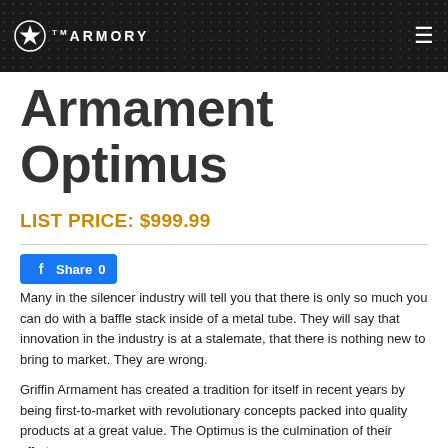THE ARMORY
Armament Optimus
LIST PRICE: $999.99
[Figure (other): Facebook Share button with count 0]
Many in the silencer industry will tell you that there is only so much you can do with a baffle stack inside of a metal tube.  They will say that innovation in the industry is at a stalemate, that there is nothing new to bring to market.  They are wrong.
Griffin Armament has created a tradition for itself in recent years by being first-to-market with revolutionary concepts packed into quality products at a great value.  The Optimus is the culmination of their efforts